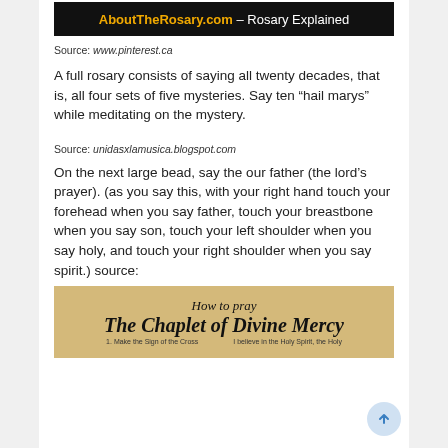[Figure (screenshot): Banner image with black background showing 'AboutTheRosary.com – Rosary Explained' with the site name in orange and the rest in white]
Source: www.pinterest.ca
A full rosary consists of saying all twenty decades, that is, all four sets of five mysteries. Say ten “hail marys” while meditating on the mystery.
Source: unidasxlamusica.blogspot.com
On the next large bead, say the our father (the lord’s prayer). (as you say this, with your right hand touch your forehead when you say father, touch your breastbone when you say son, touch your left shoulder when you say holy, and touch your right shoulder when you say spirit.) source:
[Figure (photo): Aged parchment-style image with title 'How to pray The Chaplet of Divine Mercy' with subtitle text below]